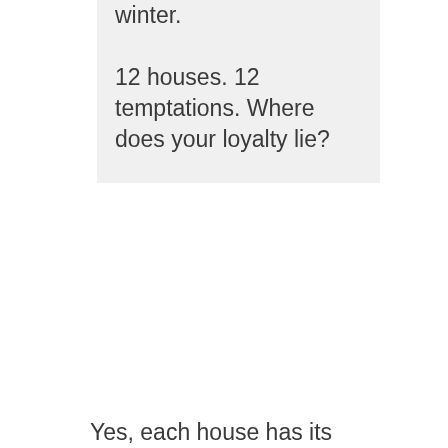winter.

12 houses. 12 temptations. Where does your loyalty lie?
Yes, each house has its